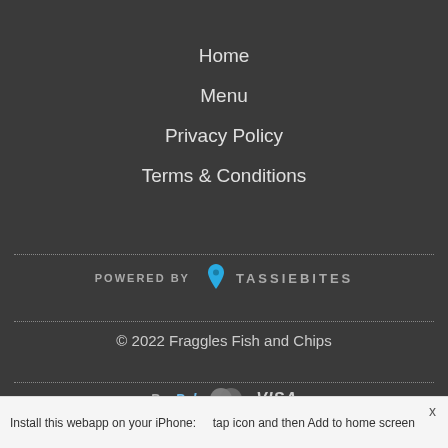Home
Menu
Privacy Policy
Terms & Conditions
[Figure (logo): POWERED BY TASSIEBITES logo with blue map pin icon]
© 2022 Fraggles Fish and Chips
[Figure (logo): PayPal, Mastercard, and VISA payment logos]
Install this webapp on your iPhone:    tap icon and then Add to home screen